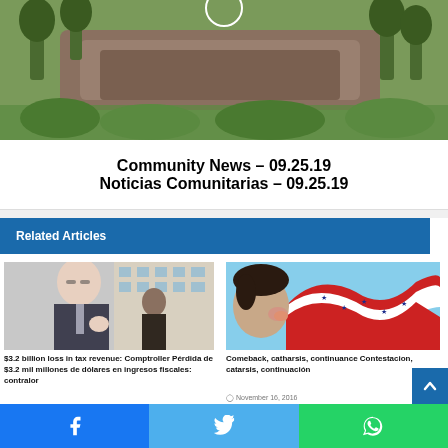[Figure (photo): Outdoor nature photo showing rocky outcropping with green trees and forest background]
Community News – 09.25.19
Noticias Comunitarias – 09.25.19
Related Articles
[Figure (photo): Photo of a man in a suit speaking outdoors, with other people visible in background]
$3.2 billion loss in tax revenue: Comptroller Pérdida de $3.2 mil millones de dólares en ingresos fiscales: contralor
March 18, 2020
[Figure (illustration): Colorful illustration of a child blowing with swirling red, white, and blue star-studded wind patterns]
Comeback, catharsis, continuance Contestacion, catarsis, continuación
November 16, 2016